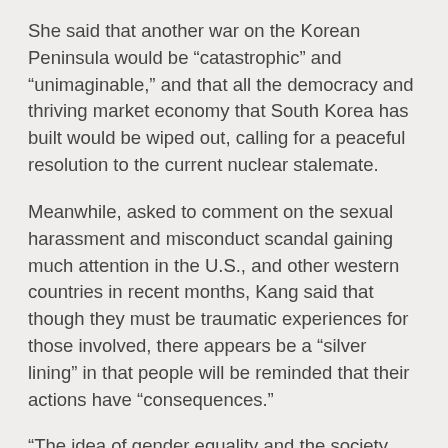She said that another war on the Korean Peninsula would be “catastrophic” and “unimaginable,” and that all the democracy and thriving market economy that South Korea has built would be wiped out, calling for a peaceful resolution to the current nuclear stalemate.
Meanwhile, asked to comment on the sexual harassment and misconduct scandal gaining much attention in the U.S., and other western countries in recent months, Kang said that though they must be traumatic experiences for those involved, there appears be a “silver lining” in that people will be reminded that their actions have “consequences.”
“The idea of gender equality and the society being freed from sexual violence and harassment is the goal that we have to work toward, but we need to find a way then to